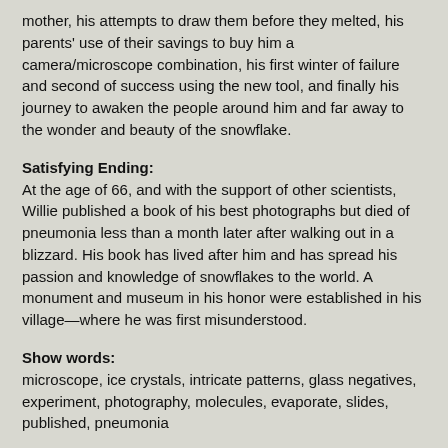mother, his attempts to draw them before they melted, his parents' use of their savings to buy him a camera/microscope combination, his first winter of failure and second of success using the new tool, and finally his journey to awaken the people around him and far away to the wonder and beauty of the snowflake.
Satisfying Ending:
At the age of 66, and with the support of other scientists, Willie published a book of his best photographs but died of pneumonia less than a month later after walking out in a blizzard. His book has lived after him and has spread his passion and knowledge of snowflakes to the world. A monument and museum in his honor were established in his village—where he was first misunderstood.
Show words:
microscope, ice crystals, intricate patterns, glass negatives, experiment, photography, molecules, evaporate, slides, published, pneumonia
Sources:
The author did not specify sources although the museum was mentioned in the text.